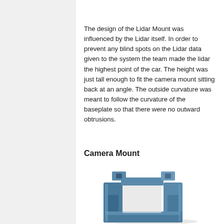The design of the Lidar Mount was influenced by the Lidar itself. In order to prevent any blind spots on the Lidar data given to the system the team made the lidar the highest point of the car. The height was just tall enough to fit the camera mount sitting back at an angle. The outside curvature was meant to follow the curvature of the baseplate so that there were no outward obtrusions.
Camera Mount
[Figure (photo): 3D rendered image of a blue-grey metal camera mount bracket with a U-shaped frame and two mounting tabs at the top]